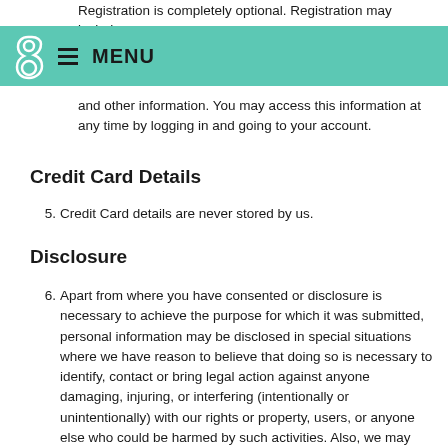Registration is completely optional. Registration may include
[Figure (screenshot): Navigation bar with teal/mint background, showing a decorative logo (stylized letter b) on the left and a hamburger menu icon followed by the word MENU in bold.]
and other information. You may access this information at any time by logging in and going to your account.
Credit Card Details
5. Credit Card details are never stored by us.
Disclosure
6. Apart from where you have consented or disclosure is necessary to achieve the purpose for which it was submitted, personal information may be disclosed in special situations where we have reason to believe that doing so is necessary to identify, contact or bring legal action against anyone damaging, injuring, or interfering (intentionally or unintentionally) with our rights or property, users, or anyone else who could be harmed by such activities. Also, we may disclose personal information when we believe in good faith that the law requires disclosure.